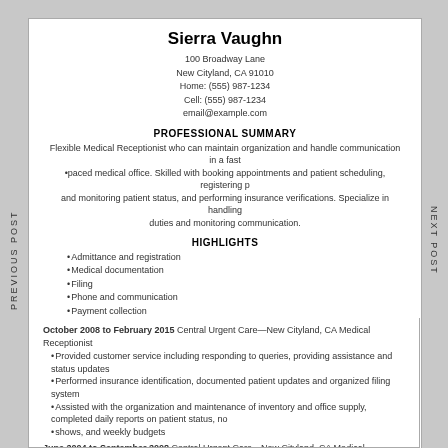Sierra Vaughn
100 Broadway Lane
New Cityland, CA 91010
Home: (555) 987-1234
Cell: (555) 987-1234
email@example.com
PROFESSIONAL SUMMARY
Flexible Medical Receptionist who can maintain organization and handle communication in a fast paced medical office. Skilled with booking appointments and patient scheduling, registering patients and monitoring patient status, and performing insurance verifications. Specialize in handling duties and monitoring communication.
HIGHLIGHTS
Admittance and registration
Medical documentation
Filing
Phone and communication
Payment collection
Billing
Hard working
Computer skills
WORK EXPERIENCE
October 2008 to February 2015 Central Urgent Care—New Cityland, CA Medical Receptionist
•Provided customer service including responding to queries, providing assistance and status updates
•Performed insurance identification, documented patient updates and organized filing system
•Assisted with the organization and maintenance of inventory and office supply, completed daily reports on patient status, no
•shows, and weekly budgets
June 2004 to September 2008 Central Urgent Care—New Cityland, CA Medical Receptionist
•Collected patient information, verified insurance and coordinate with previous care practitioners
•Collected daily payments from patients, produced weekly balance sheets
•Registered patients, monitored patient status, completed patient bedside visits to provide status